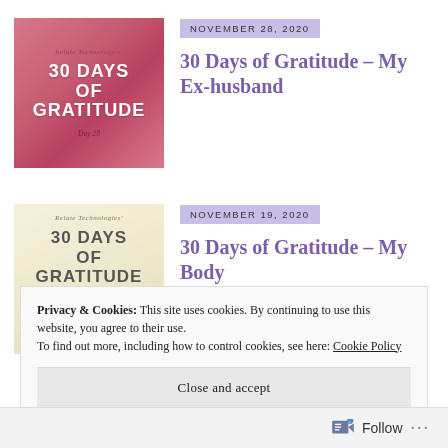[Figure (illustration): Book cover thumbnail: pink/rose background with text 'Relate Technologies' 30 DAYS OF GRATITUDE Day 28']
NOVEMBER 28, 2020
30 Days of Gratitude – My Ex-husband
[Figure (illustration): Book cover thumbnail: cream/yellow background with text 'Relate Technologies' 30 DAYS OF GRATITUDE' and figure silhouette]
NOVEMBER 19, 2020
30 Days of Gratitude – My Body
Privacy & Cookies: This site uses cookies. By continuing to use this website, you agree to their use.
To find out more, including how to control cookies, see here: Cookie Policy
Close and accept
Follow